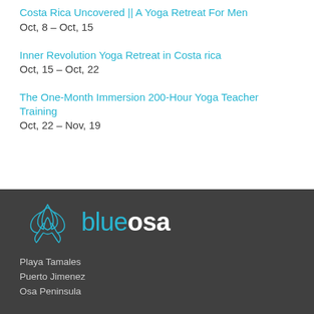Costa Rica Uncovered || A Yoga Retreat For Men
Oct, 8 – Oct, 15
Inner Revolution Yoga Retreat in Costa rica
Oct, 15 – Oct, 22
The One-Month Immersion 200-Hour Yoga Teacher Training
Oct, 22 – Nov, 19
[Figure (logo): Blue Osa yoga retreat logo with teal lotus flower above the text 'blueosa']
Playa Tamales
Puerto Jimenez
Osa Peninsula